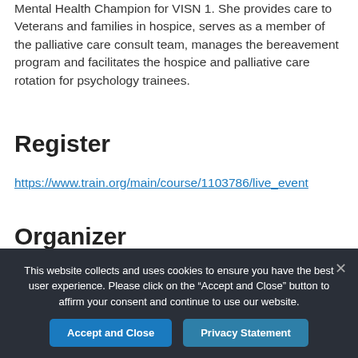Mental Health Champion for VISN 1. She provides care to Veterans and families in hospice, serves as a member of the palliative care consult team, manages the bereavement program and facilitates the hospice and palliative care rotation for psychology trainees.
Register
https://www.train.org/main/course/1103786/live_event
Organizer
This website collects and uses cookies to ensure you have the best user experience. Please click on the “Accept and Close” button to affirm your consent and continue to use our website.